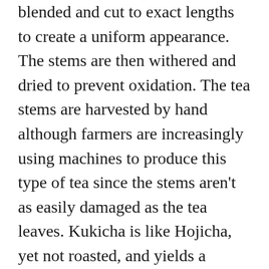blended and cut to exact lengths to create a uniform appearance. The stems are then withered and dried to prevent oxidation. The tea stems are harvested by hand although farmers are increasingly using machines to produce this type of tea since the stems aren't as easily damaged as the tea leaves. Kukicha is like Hojicha, yet not roasted, and yields a slightly vegetal brew with a light green color. Hojicha is a type of Japanese green tea, generally referring to tea made with roasted tea leaves. In general, hojicha leaves are obtained by roasting kukicha (twig tea) leaves and has a unique roasted aroma.